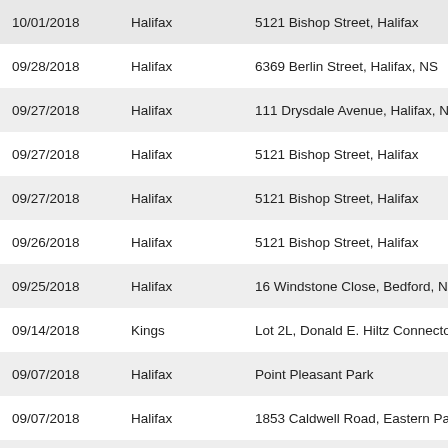| Date | County | Address |
| --- | --- | --- |
| 10/01/2018 | Halifax | 5121 Bishop Street, Halifax |
| 09/28/2018 | Halifax | 6369 Berlin Street, Halifax, NS |
| 09/27/2018 | Halifax | 111 Drysdale Avenue, Halifax, NS |
| 09/27/2018 | Halifax | 5121 Bishop Street, Halifax |
| 09/27/2018 | Halifax | 5121 Bishop Street, Halifax |
| 09/26/2018 | Halifax | 5121 Bishop Street, Halifax |
| 09/25/2018 | Halifax | 16 Windstone Close, Bedford, NS Lot... |
| 09/14/2018 | Kings | Lot 2L, Donald E. Hiltz Connector Roa... |
| 09/07/2018 | Halifax | Point Pleasant Park |
| 09/07/2018 | Halifax | 1853 Caldwell Road, Eastern Passage... |
| 08/31/2018 | Cumberland | 1395 Blair Lake Road, Upper Nappan... |